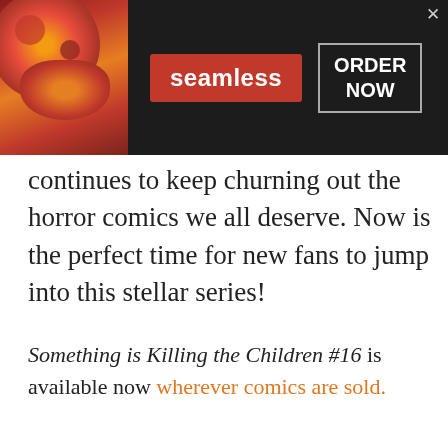[Figure (screenshot): Seamless food delivery advertisement banner with pizza image on left, Seamless logo in red box, and ORDER NOW button on dark background with close X button]
continues to keep churning out the horror comics we all deserve. Now is the perfect time for new fans to jump into this stellar series!
Something is Killing the Children #16 is available now wherever comics are sold.
Privacy & Cookies: This site uses cookies. By continuing to use this website,
[Figure (screenshot): Kohl's advertisement: Up to 60% off Clothing at Kohl's. Save up to 60% on clothing and homeware at Kohl's.com. kohls.com. Shows people in casual clothing with a blue circle arrow button.]